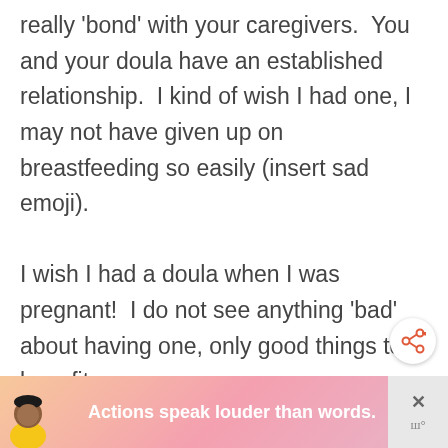really 'bond' with your caregivers.  You and your doula have an established relationship.  I kind of wish I had one, I may not have given up on breastfeeding so easily (insert sad emoji).

I wish I had a doula when I was pregnant!  I do not see anything 'bad' about having one, only good things to benefit your
[Figure (other): Share button - circular white button with share icon (arrows pointing outward in orange/red)]
[Figure (other): Advertisement banner at bottom: pink/peach gradient background with cartoon avatar, text reading 'Actions speak louder than words.' in white bold text, close X button, and right panel with X and bars icons]